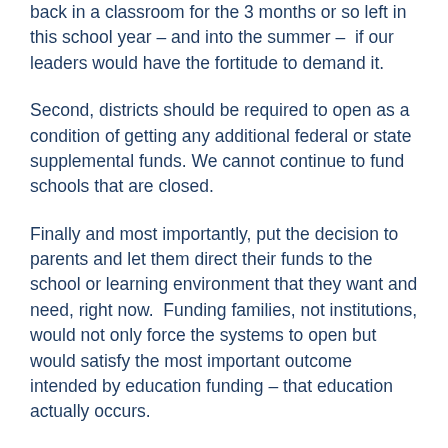back in a classroom for the 3 months or so left in this school year – and into the summer –  if our leaders would have the fortitude to demand it.
Second, districts should be required to open as a condition of getting any additional federal or state supplemental funds. We cannot continue to fund schools that are closed.
Finally and most importantly, put the decision to parents and let them direct their funds to the school or learning environment that they want and need, right now.  Funding families, not institutions, would not only force the systems to open but would satisfy the most important outcome intended by education funding – that education actually occurs.